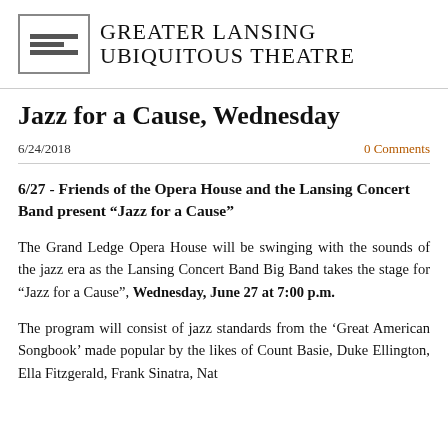GREATER LANSING UBIQUITOUS THEATRE
Jazz for a Cause, Wednesday
6/24/2018
0 Comments
6/27 - Friends of the Opera House and the Lansing Concert Band present “Jazz for a Cause”
The Grand Ledge Opera House will be swinging with the sounds of the jazz era as the Lansing Concert Band Big Band takes the stage for “Jazz for a Cause”, Wednesday, June 27 at 7:00 p.m.
The program will consist of jazz standards from the ‘Great American Songbook’ made popular by the likes of Count Basie, Duke Ellington, Ella Fitzgerald, Frank Sinatra, Nat